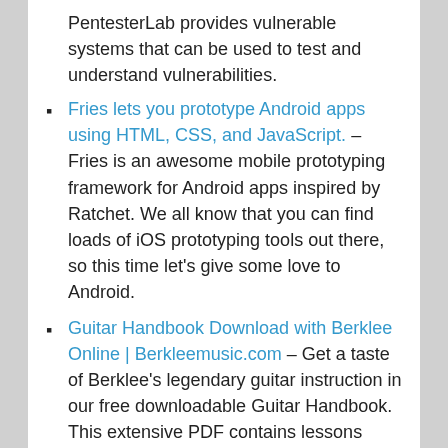PentesterLab provides vulnerable systems that can be used to test and understand vulnerabilities.
Fries lets you prototype Android apps using HTML, CSS, and JavaScript. – Fries is an awesome mobile prototyping framework for Android apps inspired by Ratchet. We all know that you can find loads of iOS prototyping tools out there, so this time let's give some love to Android.
Guitar Handbook Download with Berklee Online | Berkleemusic.com – Get a taste of Berklee's legendary guitar instruction in our free downloadable Guitar Handbook. This extensive PDF contains lessons taken from Berklee's 12-week online guitar courses, and covers introductory topics such as scales, triads, strumming techniq
Microsoft Windows 8 criticism response: not like New Coke | BGR – Microsoft executive Frank Shaw is not happy with everyone who compared Windows 8 to New Coke this week. Shaw, who serves as Microsoft's vice president of corporate communications, has written a blog post swiping